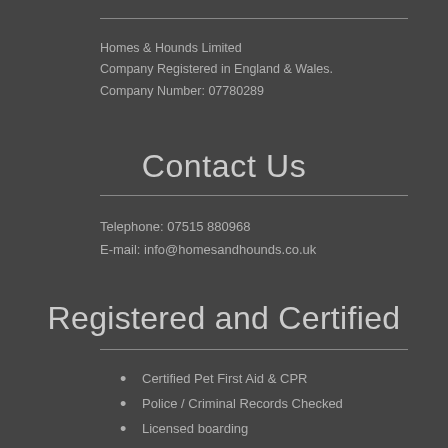Homes & Hounds Limited
Company Registered in England & Wales.
Company Number: 07780289
Contact Us
Telephone: 07515 880968
E-mail: info@homesandhounds.co.uk
Registered and Certified
Certified Pet First Aid & CPR
Police / Criminal Records Checked
Licensed boarding